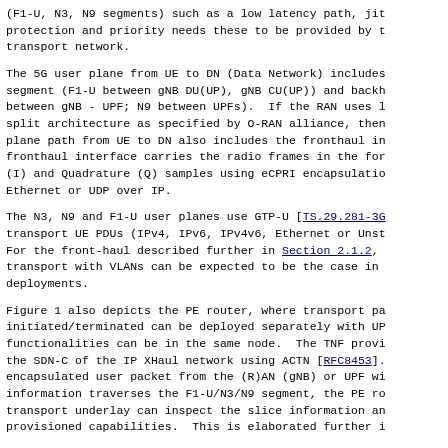(F1-U, N3, N9 segments) such as a low latency path, jitter protection and priority needs these to be provided by the transport network.
The 5G user plane from UE to DN (Data Network) includes the midhaul segment (F1-U between gNB DU(UP), gNB CU(UP)) and backhaul (N3 between gNB - UPF; N9 between UPFs). If the RAN uses lower-layer split architecture as specified by O-RAN alliance, then the user plane path from UE to DN also includes the fronthaul interface. The fronthaul interface carries the radio frames in the form of In-phase (I) and Quadrature (Q) samples using eCPRI encapsulation over Ethernet or UDP over IP.
The N3, N9 and F1-U user planes use GTP-U [TS.29.281-3GPP] to transport UE PDUs (IPv4, IPv6, IPv4v6, Ethernet or Unstructured). For the front-haul described further in Section 2.1.2, Ethernet transport with VLANs can be expected to be the case in most deployments.
Figure 1 also depicts the PE router, where transport paths are initiated/terminated can be deployed separately with UPF or these functionalities can be in the same node. The TNF provides ACTN to the SDN-C of the IP XHaul network using ACTN [RFC8453]. When an encapsulated user packet from the (R)AN (gNB) or UPF with slice information traverses the F1-U/N3/N9 segment, the PE router in the transport underlay can inspect the slice information and enforce provisioned capabilities. This is elaborated further in